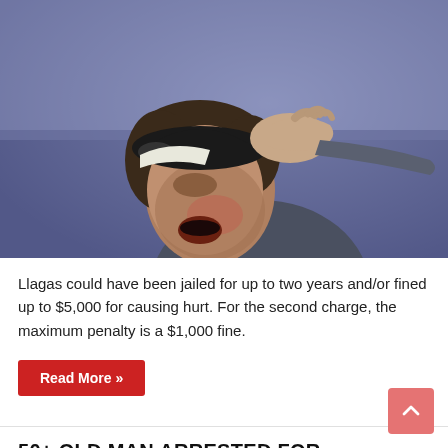[Figure (photo): A man with dark hair, mouth open, having his cap pulled off or face struck by another person's hand. Blurred, dramatic action photo with a purplish-blue background.]
Llagas could have been jailed for up to two years and/or fined up to $5,000 for causing hurt. For the second charge, the maximum penalty is a $1,000 fine.
Read More »
50+ OLD MAN ARRESTED FOR SHOOTING